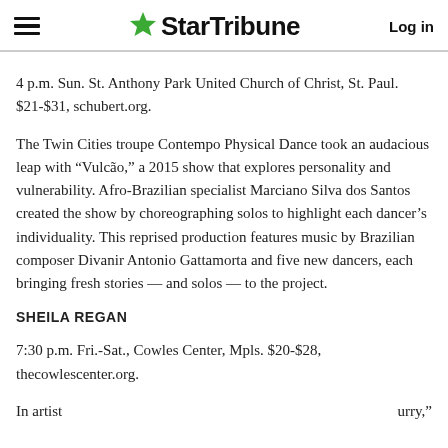StarTribune — Log in
4 p.m. Sun. St. Anthony Park United Church of Christ, St. Paul. $21-$31, schubert.org.
The Twin Cities troupe Contempo Physical Dance took an audacious leap with “Vulcão,” a 2015 show that explores personality and vulnerability. Afro-Brazilian specialist Marciano Silva dos Santos created the show by choreographing solos to highlight each dancer’s individuality. This reprised production features music by Brazilian composer Divanir Antonio Gattamorta and five new dancers, each bringing fresh stories — and solos — to the project.
SHEILA REGAN
7:30 p.m. Fri.-Sat., Cowles Center, Mpls. $20-$28, thecowlescenter.org.
In artist…urry,”